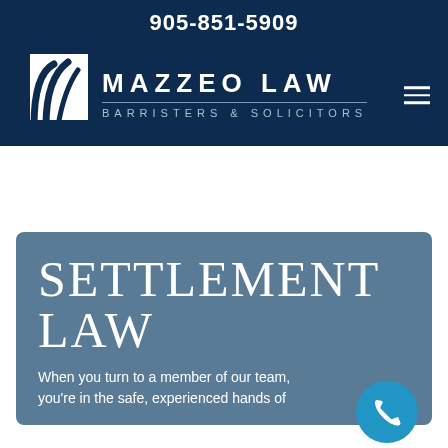905-851-5909
[Figure (logo): Mazzeo Law Barristers & Solicitors logo with stylized curved lines icon and firm name in white on dark navy background]
SETTLEMENT LAW
When you turn to a member of our team, you're in the safe, experienced hands of